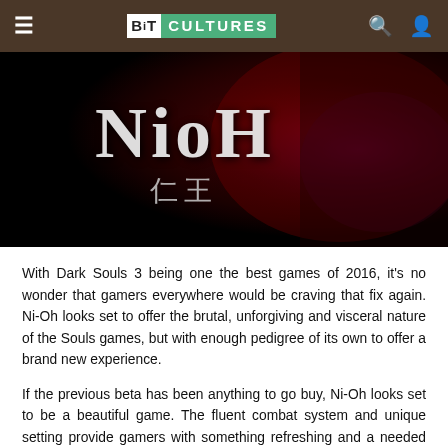BitCultures — navigation bar with hamburger menu, logo, search and user icons
[Figure (photo): Nioh game promotional banner featuring stylized text 'NioH' with Japanese characters '仁王' below, set against a dark background with a warrior character holding a sword surrounded by red and purple energy effects.]
With Dark Souls 3 being one the best games of 2016, it's no wonder that gamers everywhere would be craving that fix again. Ni-Oh looks set to offer the brutal, unforgiving and visceral nature of the Souls games, but with enough pedigree of its own to offer a brand new experience.
If the previous beta has been anything to go buy, Ni-Oh looks set to be a beautiful game. The fluent combat system and unique setting provide gamers with something refreshing and a needed addition of variation to the AAA industry. Hopefully Ni-Oh can retain the brilliance of what has been seen so far without compromising the hauntingly beautiful aesthetics and gameplay in